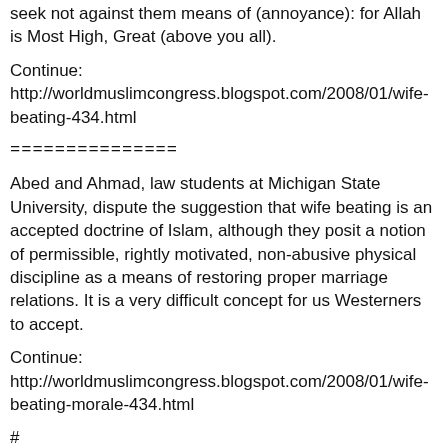seek not against them means of (annoyance): for Allah is Most High, Great (above you all).
Continue:
http://worldmuslimcongress.blogspot.com/2008/01/wife-beating-434.html
===============
Abed and Ahmad, law students at Michigan State University, dispute the suggestion that wife beating is an accepted doctrine of Islam, although they posit a notion of permissible, rightly motivated, non-abusive physical discipline as a means of restoring proper marriage relations. It is a very difficult concept for us Westerners to accept.
Continue:
http://worldmuslimcongress.blogspot.com/2008/01/wife-beating-morale-434.html
#